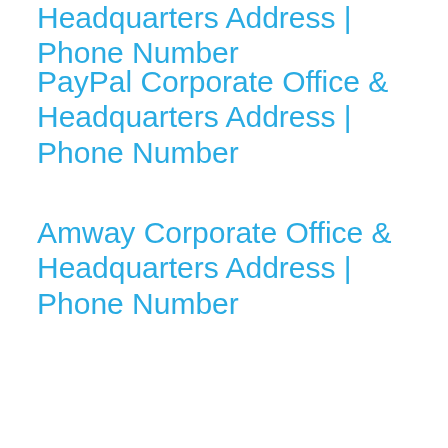Headquarters Address | Phone Number
PayPal Corporate Office & Headquarters Address | Phone Number
Amway Corporate Office & Headquarters Address | Phone Number